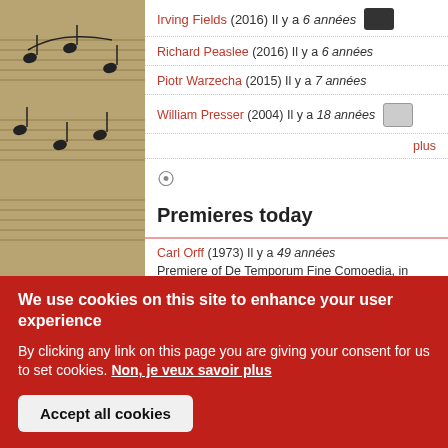Irving Fields (2016) Il y a 6 années
Richard Peaslee (2016) Il y a 6 années
Piotr Warzecha (2015) Il y a 7 années
William Presser (2004) Il y a 18 années
plus
Premieres today
Carl Orff (1973) Il y a 49 années
Premiere of De Temporum Fine Comoedia, in Salzburg, Austria.
Krzysztof Penderecki (1988) Il y a 34 années
We use cookies on this site to enhance your user experience

By clicking any link on this page you are giving your consent for us to set cookies. Non, je veux savoir plus

Accept all cookies